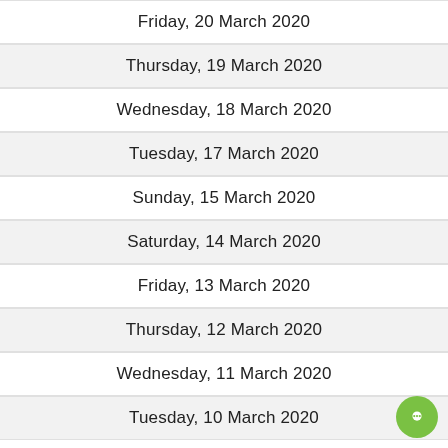Friday, 20 March 2020
Thursday, 19 March 2020
Wednesday, 18 March 2020
Tuesday, 17 March 2020
Sunday, 15 March 2020
Saturday, 14 March 2020
Friday, 13 March 2020
Thursday, 12 March 2020
Wednesday, 11 March 2020
Tuesday, 10 March 2020